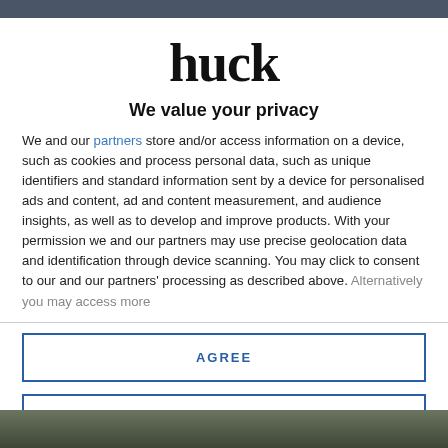[Figure (logo): Huck magazine logo in large bold serif/display font, black text]
We value your privacy
We and our partners store and/or access information on a device, such as cookies and process personal data, such as unique identifiers and standard information sent by a device for personalised ads and content, ad and content measurement, and audience insights, as well as to develop and improve products. With your permission we and our partners may use precise geolocation data and identification through device scanning. You may click to consent to our and our partners' processing as described above. Alternatively you may access more
AGREE
MORE OPTIONS